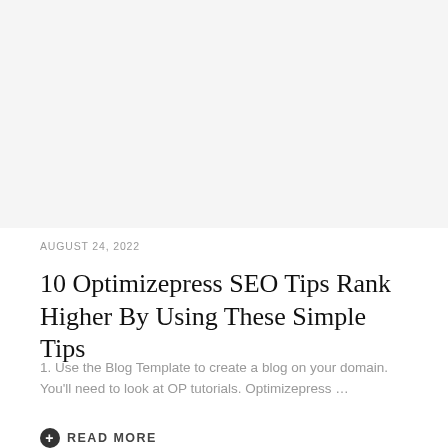[Figure (photo): Blank/white image placeholder at top of article card]
AUGUST 24, 2022
10 Optimizepress SEO Tips Rank Higher By Using These Simple Tips
1. Use the Blog Template to create a blog on your domain. You'll need to look at OP tutorials. Optimizepress …
READ MORE